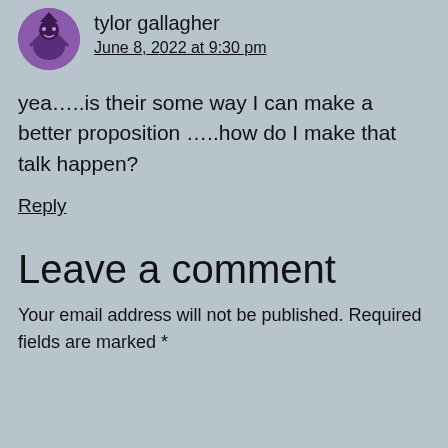tylor gallagher
June 8, 2022 at 9:30 pm
yea…..is their some way I can make a better proposition …..how do I make that talk happen?
Reply
Leave a comment
Your email address will not be published. Required fields are marked *